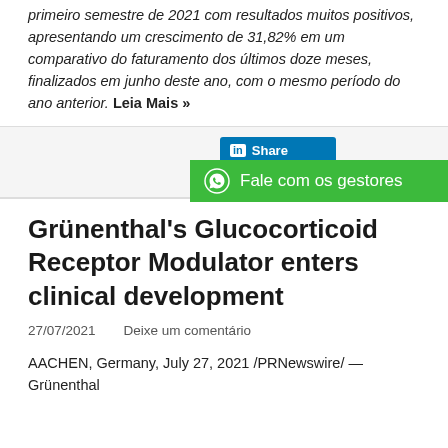primeiro semestre de 2021 com resultados muitos positivos, apresentando um crescimento de 31,82% em um comparativo do faturamento dos últimos doze meses, finalizados em junho deste ano, com o mesmo período do ano anterior. Leia Mais »
[Figure (other): LinkedIn Share button and WhatsApp 'Fale com os gestores' green banner]
Grünenthal's Glucocorticoid Receptor Modulator enters clinical development
27/07/2021    Deixe um comentário
AACHEN, Germany, July 27, 2021 /PRNewswire/ — Grünenthal